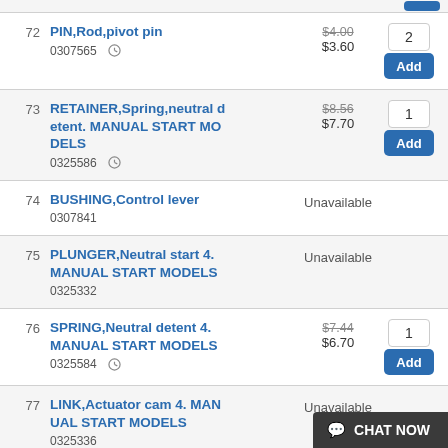72 PIN,Rod,pivot pin 0307565 $4.00 $3.60 qty:2 Add
73 RETAINER,Spring,neutral detent. MANUAL START MODELS 0325586 $8.56 $7.70 qty:1 Add
74 BUSHING,Control lever 0307841 Unavailable
75 PLUNGER,Neutral start 4. MANUAL START MODELS 0325332 Unavailable
76 SPRING,Neutral detent 4. MANUAL START MODELS 0325584 $7.44 $6.70 qty:1 Add
77 LINK,Actuator cam 4. MANUAL START MODELS 0325336 Unavailable